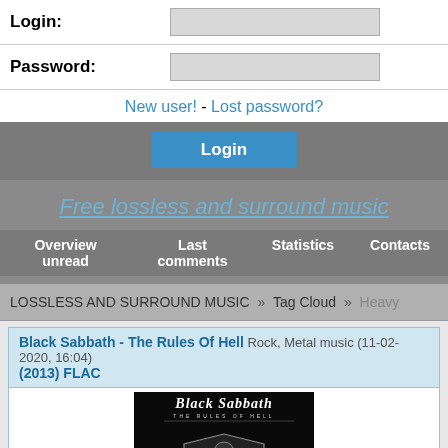Login:
Password:
New user! - Lost password?
Login
Free lossless and surround music
Overview unread  Last comments  Statistics  Contacts
LOSSLESS AND SURROUND MUSIC » Tag Cloud » Heavy
Black Sabbath - The Rules Of Hell  Rock, Metal music  (11-02-2020, 16:04)  (2013) FLAC
[Figure (photo): Black Sabbath - The Rules Of Hell album cover art on black background with gothic lettering and ornate graphic design]